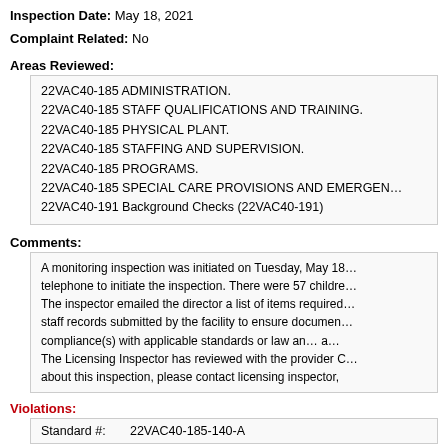Inspection Date: May 18, 2021
Complaint Related: No
Areas Reviewed:
22VAC40-185 ADMINISTRATION.
22VAC40-185 STAFF QUALIFICATIONS AND TRAINING.
22VAC40-185 PHYSICAL PLANT.
22VAC40-185 STAFFING AND SUPERVISION.
22VAC40-185 PROGRAMS.
22VAC40-185 SPECIAL CARE PROVISIONS AND EMERGEN...
22VAC40-191 Background Checks (22VAC40-191)
Comments:
A monitoring inspection was initiated on Tuesday, May 18... telephone to initiate the inspection. There were 57 childre... The inspector emailed the director a list of items required... staff records submitted by the facility to ensure documen... compliance(s) with applicable standards or law an... a... The Licensing Inspector has reviewed with the provider C... about this inspection, please contact licensing inspector,
Violations:
Standard #:    22VAC40-185-140-A